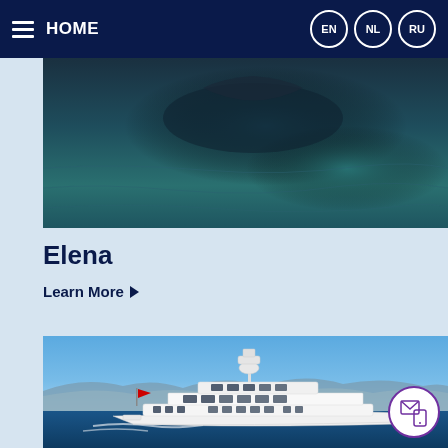HOME | EN | NL | RU
[Figure (photo): Aerial view of dark water/ocean surface]
Elena
Learn More ▶
[Figure (photo): White luxury motor yacht cruising on blue water with mountains in background, red flag at stern]